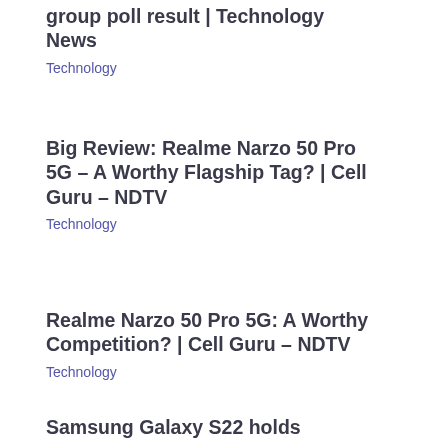group poll result | Technology News
Technology
Big Review: Realme Narzo 50 Pro 5G – A Worthy Flagship Tag? | Cell Guru – NDTV
Technology
Realme Narzo 50 Pro 5G: A Worthy Competition? | Cell Guru – NDTV
Technology
Samsung Galaxy S22 holds